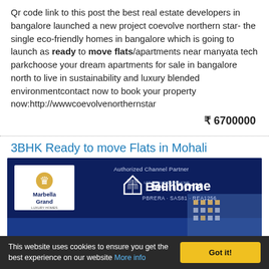Qr code link to this post the best real estate developers in bangalore launched a new project coevolve northern star- the single eco-friendly homes in bangalore which is going to launch as ready to move flats/apartments near manyata tech parkchoose your dream apartments for sale in bangalore north to live in sustainability and luxury blended environmentcontact now to book your property now:http://wwwcoevolvenorthernstar
₹ 6700000
3BHK Ready to move Flats in Mohali
[Figure (other): Advertising banner for Marbella Grand real estate project with Bellhome as Authorized Channel Partner. Dark navy blue background with company logos and building image. PBRERA-SAS81-REA1256.]
This website uses cookies to ensure you get the best experience on our website More info  Got it!